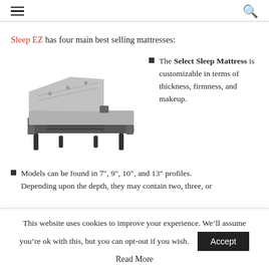Navigation header with hamburger menu and search icon
Sleep EZ has four main best selling mattresses:
[Figure (photo): Photo of an adjustable bed frame with mattress in elevated head position, dark metal frame with legs]
The Select Sleep Mattress is customizable in terms of thickness, firmness, and makeup.
Models can be found in 7", 9", 10", and 13" profiles. Depending upon the depth, they may contain two, three, or
This website uses cookies to improve your experience. We’ll assume you’re ok with this, but you can opt-out if you wish.
Read More